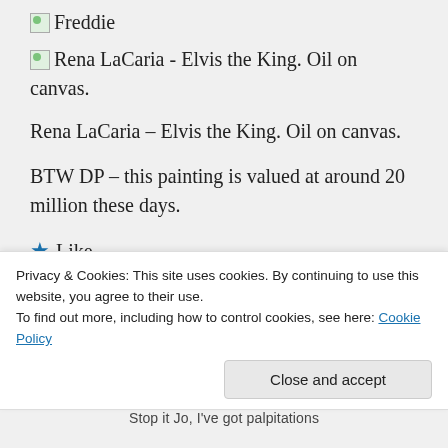Freddie
Rena LaCaria - Elvis the King. Oil on canvas.
Rena LaCaria – Elvis the King. Oil on canvas.
BTW DP – this painting is valued at around 20 million these days.
★ Like
👍 2 👎 0 ℹ Rate This
Privacy & Cookies: This site uses cookies. By continuing to use this website, you agree to their use.
To find out more, including how to control cookies, see here: Cookie Policy
Close and accept
Stop it Jo, I've got palpitations